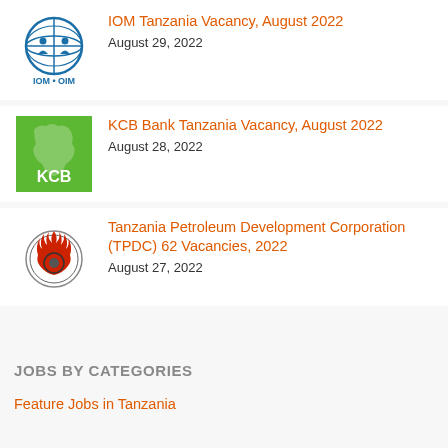[Figure (logo): IOM OIM globe with people logo, blue circular emblem with IOM•OIM text below]
IOM Tanzania Vacancy, August 2022
August 29, 2022
[Figure (logo): KCB Bank green square logo with lion silhouette and KCB text]
KCB Bank Tanzania Vacancy, August 2022
August 28, 2022
[Figure (logo): Tanzania Petroleum Development Corporation circular emblem with flame and machinery]
Tanzania Petroleum Development Corporation (TPDC) 62 Vacancies, 2022
August 27, 2022
JOBS BY CATEGORIES
Feature Jobs in Tanzania